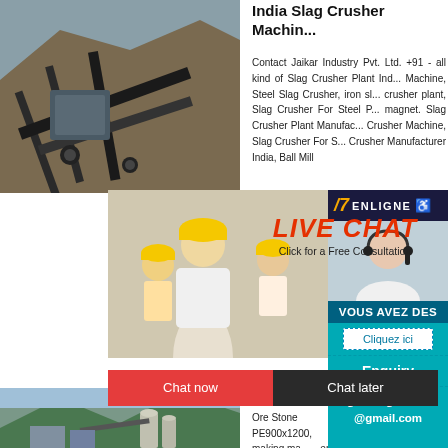[Figure (photo): Industrial slag crusher machine / conveyor plant at a quarry site]
India Slag Crusher Machine
Contact Jaikar Industry Pvt. Ltd. +91 - all kind of Slag Crusher Plant India Machine, Steel Slag Crusher, iron slag crusher plant, Slag Crusher For Steel Plant magnet. Slag Crusher Plant Manufacturer Crusher Machine, Slag Crusher For Steel Crusher Manufacturer India, Ball Mill
[Figure (photo): Workers in yellow hard hats at industrial site - Live Chat overlay with red text LIVE CHAT, Click for a Free Consultation, Chat now and Chat later buttons]
[Figure (photo): Customer service agent with headset - ENLIGNE sidebar, VOUS AVEZ DES box with Cliquez ici, Enquiry bar, email grinding111leo@gmail.com]
[Figure (photo): Industrial plant with mountains and silos in background]
mill ball machine, Ore Stone PE900x1200, making machine, ironing separator, e crusher